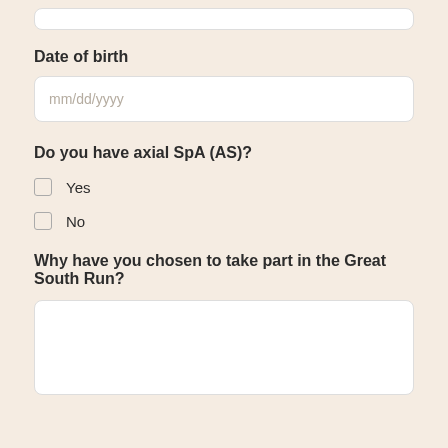Date of birth
mm/dd/yyyy
Do you have axial SpA (AS)?
Yes
No
Why have you chosen to take part in the Great South Run?